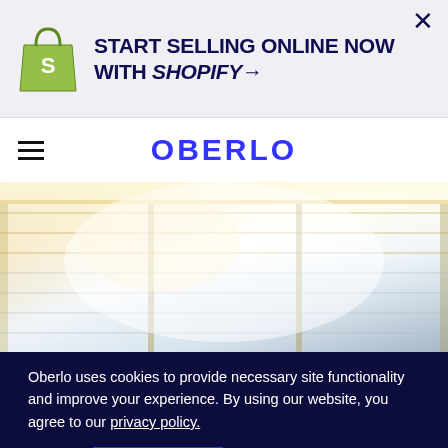[Figure (logo): Shopify ad banner with logo and text: START SELLING ONLINE NOW WITH SHOPIFY →]
OBERLO
[Figure (photo): Blurred bright interior photo showing windows with horizontal blinds and natural light]
Oberlo uses cookies to provide necessary site functionality and improve your experience. By using our website, you agree to our privacy policy.
Reject
ACCEPT